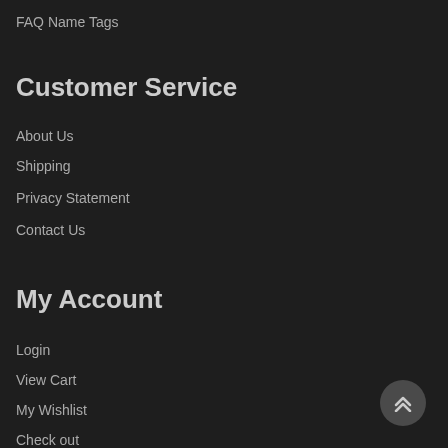FAQ Name Tags
Customer Service
About Us
Shipping
Privacy Statement
Contact Us
My Account
Login
View Cart
My Wishlist
Check out